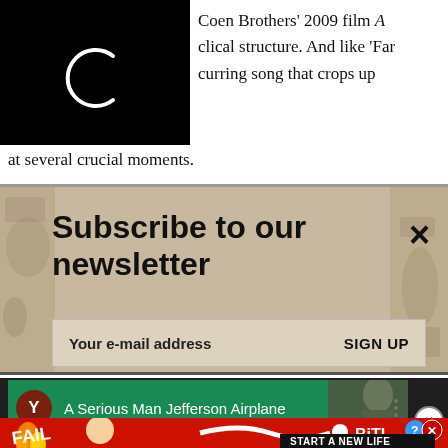[Figure (screenshot): Black box with white C-shaped logo (loading spinner) on left side of page]
Coen Brothers' 2009 film A clical structure. And like 'Far curring song that crops up at several crucial moments.
[Figure (screenshot): Newsletter subscription banner with tan/beige stone texture background. Shows 'Subscribe to our newsletter' heading, email input field, SIGN UP button, and X close button.]
[Figure (screenshot): YouTube video entry showing 'A Serious Man Jefferson Airplane' with Y avatar icon on green bar, person photo in background, three-dot menu, and X close circle button. Below is a BitLife game advertisement with FAIL text and START A NEW LIFE slogan.]